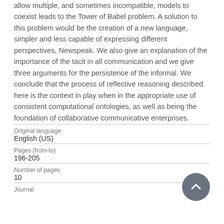allow multiple, and sometimes incompatible, models to coexist leads to the Tower of Babel problem. A solution to this problem would be the creation of a new language, simpler and less capable of expressing different perspectives, Newspeak. We also give an explanation of the importance of the tacit in all communication and we give three arguments for the persistence of the informal. We conclude that the process of reflective reasoning described here is the context in play when in the appropriate use of consistent computational ontologies, as well as being the foundation of collaborative communicative enterprises.
| Original language | English (US) |
| Pages (from-to) | 196-205 |
| Number of pages | 10 |
| Journal |  |